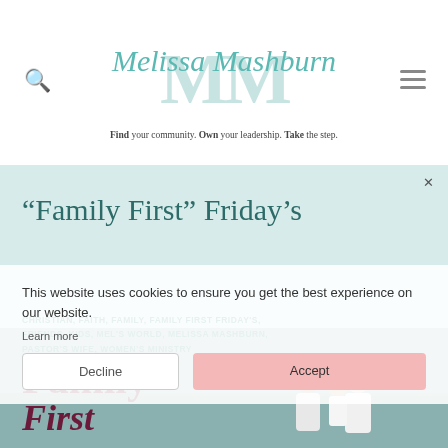[Figure (logo): Melissa Mashburn blog logo with script text and MM watermark, teal color scheme]
Find your community. Own your leadership. Take the step.
“Family First” Friday’s
This website uses cookies to ensure you get the best experience on our website.
CHRISTIAN, FAITH, FAMILY, FAMILY FIRST FRIDAY'S, FRIENDS, KIDS, MEL'S WORLD, MELISSA MASHBURN, PASTOR'S WIFE, WOMEN'S MINISTRY
[Figure (photo): Family photo strip showing text 'Family First' in dark red serif font with a family walking on a beach/pier in background]